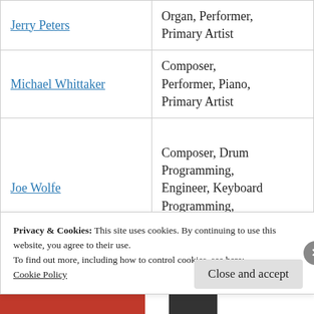| Name | Roles |
| --- | --- |
| Jerry Peters | Organ, Performer, Primary Artist |
| Michael Whittaker | Composer, Performer, Piano, Primary Artist |
| Joe Wolfe | Composer, Drum Programming, Engineer, Keyboard Programming, Keyboards, Mixer... |
Privacy & Cookies: This site uses cookies. By continuing to use this website, you agree to their use.
To find out more, including how to control cookies, see here:
Cookie Policy